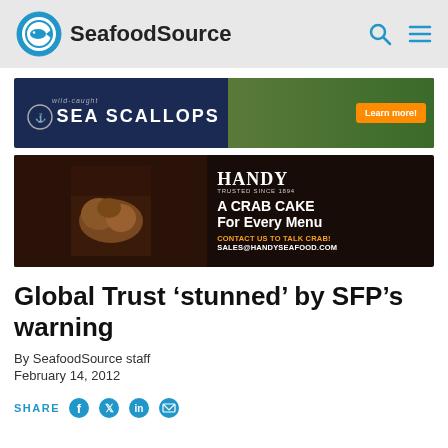SeafoodSource
[Figure (illustration): Advertisement banner for wild-caught Sea Scallops with a dark navy background, circular logo on left, large white bold text 'SEA SCALLOPS' and 'wild-caught' in italic, right side shows food photography of seared scallops on a salad with an orange 'Learn more!' button]
[Figure (illustration): Advertisement banner for Handy seafood: dark background with crab cake food photography on left, right side shows white text 'HANDY TRUSTED SINCE 1894', 'A CRAB CAKE For Every Menu', orange text 'CONTACT US TO TALK CRAB!', white text 'SALES@HANDYSEAFOOD.COM']
Global Trust ‘stunned’ by SFP’s warning
By SeafoodSource staff
February 14, 2012
SHARE